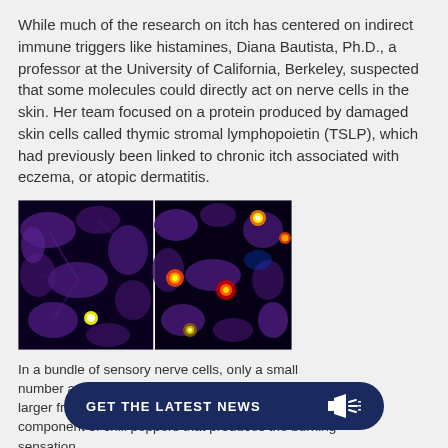While much of the research on itch has centered on indirect immune triggers like histamines, Diana Bautista, Ph.D., a professor at the University of California, Berkeley, suspected that some molecules could directly act on nerve cells in the skin. Her team focused on a protein produced by damaged skin cells called thymic stromal lymphopoietin (TSLP), which had previously been linked to chronic itch associated with eczema, or atopic dermatitis.
[Figure (photo): Two side-by-side fluorescence microscopy images of sensory nerve cells on a dark background. Left image shows mostly purple/blue cells with one small bright spot (TSLP-sensitive). Right image shows several bright yellow, orange, and red glowing spots among purple/blue cells (capsaicin-sensitive).]
In a bundle of sensory nerve cells, only a small number are sensitive to TSLP (left). By comparison, a larger fraction responds to capsaicin (right), the component of chili peppers that produces the burning sensation. Credit: Diana Bautista, Ph.D., University of California, Berkeley